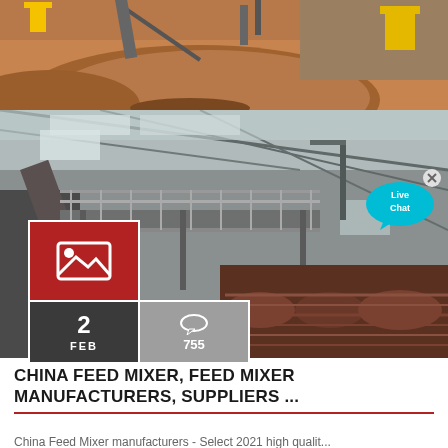[Figure (photo): Outdoor industrial/mining area with large mounds of brown/red dirt or ore and yellow machinery in the background]
[Figure (photo): Industrial interior of a factory or processing plant with metal conveyor structures, large rotating drums/cylinders, steel framing and roof]
[Figure (illustration): Red square containing a white image/photo icon (mountain and sun symbol)]
2
FEB
755
[Figure (illustration): Live Chat button as a cyan speech bubble with 'Live Chat' text and an X close button]
CHINA FEED MIXER, FEED MIXER MANUFACTURERS, SUPPLIERS ...
China Feed Mixer manufacturers - Select 2021 high qualit...